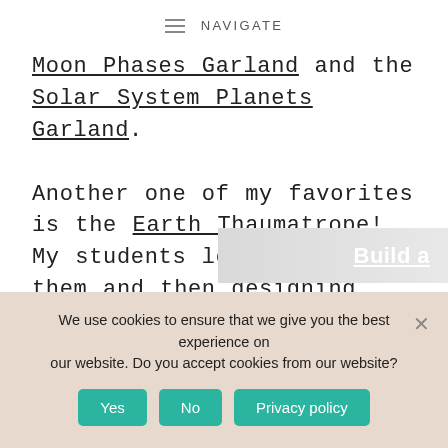NAVIGATE
Moon Phases Garland and the Solar System Planets Garland. Another one of my favorites is the Earth Thaumatrope! My students loved making them and then designing their own.
[Figure (screenshot): Partial view of a linked image or banner with text 'Build a' in white on a grey/light background]
We use cookies to ensure that we give you the best experience on our website. Do you accept cookies from our website? Yes | No | Privacy policy